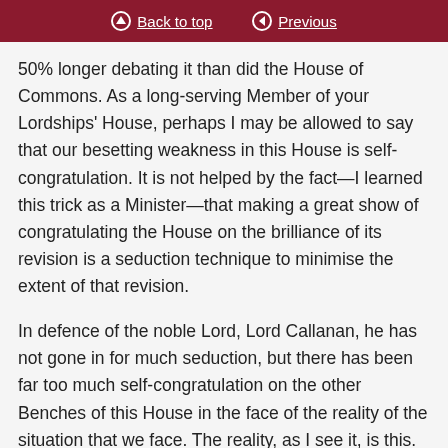Back to top   Previous
50% longer debating it than did the House of Commons. As a long-serving Member of your Lordships' House, perhaps I may be allowed to say that our besetting weakness in this House is self-congratulation. It is not helped by the fact—I learned this trick as a Minister—that making a great show of congratulating the House on the brilliance of its revision is a seduction technique to minimise the extent of that revision.
In defence of the noble Lord, Lord Callanan, he has not gone in for much seduction, but there has been far too much self-congratulation on the other Benches of this House in the face of the reality of the situation that we face. The reality, as I see it, is this. We are presently on course for a hard Brexit